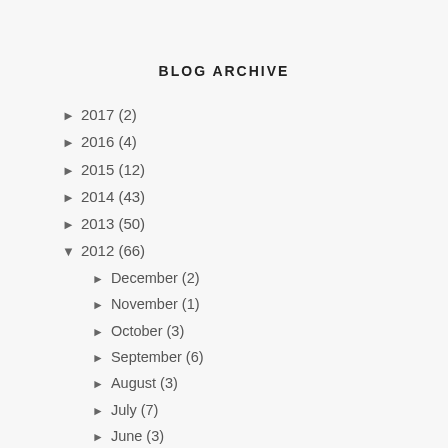BLOG ARCHIVE
► 2017 (2)
► 2016 (4)
► 2015 (12)
► 2014 (43)
► 2013 (50)
▼ 2012 (66)
► December (2)
► November (1)
► October (3)
► September (6)
► August (3)
► July (7)
► June (3)
▼ May (7)
What's Up: End of Preschool
What's Up: Marides' Skirt, Bangle Bracelet
What's Up: Wallets and Rest